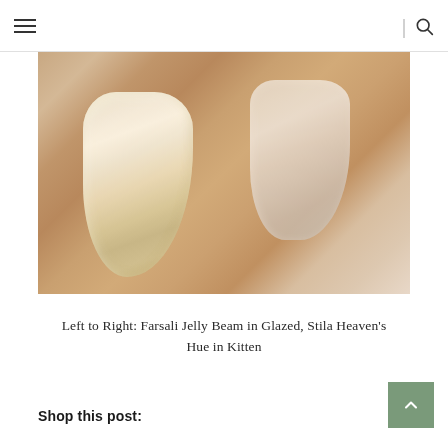Navigation menu and search
[Figure (photo): Close-up photo of two shimmer/highlighter swatches on skin — left swatch is a shimmery champagne gold (Farsali Jelly Beam in Glazed), right swatch is a sheer pink shimmer (Stila Heaven's Hue in Kitten)]
Left to Right: Farsali Jelly Beam in Glazed, Stila Heaven's Hue in Kitten
Shop this post: